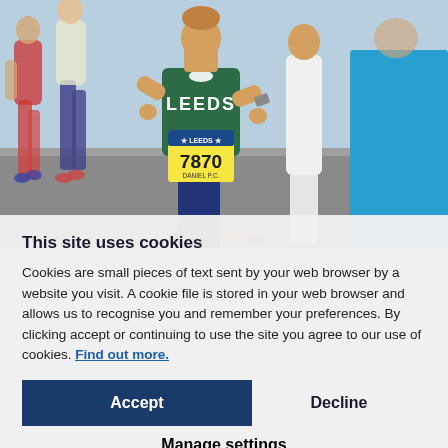[Figure (photo): Runners in a road race, central runner wearing a green Leeds vest with race number 7870, running on a road with multiple other runners around them]
This site uses cookies
Cookies are small pieces of text sent by your web browser by a website you visit. A cookie file is stored in your web browser and allows us to recognise you and remember your preferences. By clicking accept or continuing to use the site you agree to our use of cookies. Find out more.
Accept
Decline
Manage settings